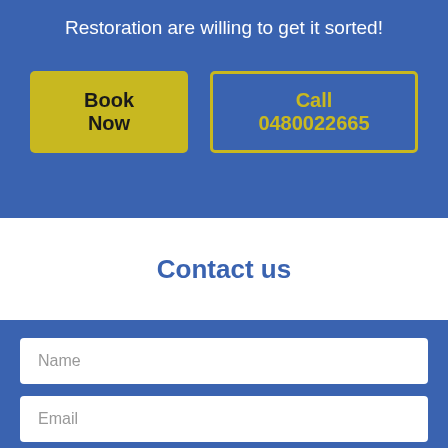Restoration are willing to get it sorted!
Book Now
Call 0480022665
Contact us
Name
Email